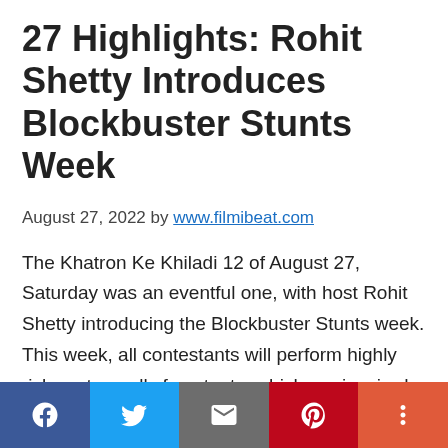27 Highlights: Rohit Shetty Introduces Blockbuster Stunts Week
August 27, 2022 by www.filmibeat.com
The Khatron Ke Khiladi 12 of August 27, Saturday was an eventful one, with host Rohit Shetty introducing the Blockbuster Stunts week. This week, all contestants will perform highly risky yet equally fun stunts, which are inspired by Rohit Shetty's films. Rajiv Adatia, Nishant Bhatt, Faisal Shaikh, and Mohit Malik received Fear Fanda on Saturday's Khatron Ke Khiladi 12 episode. The episode began with Rohit Shetty introducing
Facebook Twitter Email Pinterest More